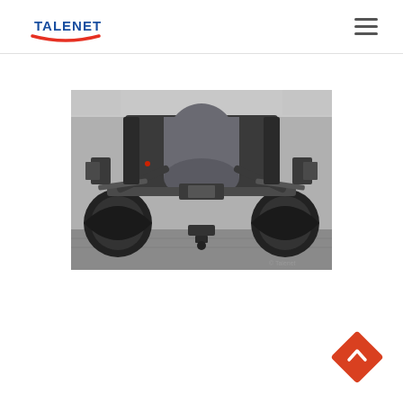TALENET
[Figure (photo): Undercarriage view of a commercial truck showing front axle assembly, suspension components, fuel tank, steering linkages, and front tires viewed from below the vehicle]
[Figure (other): Orange diamond-shaped back-to-top button with white upward chevron arrow]